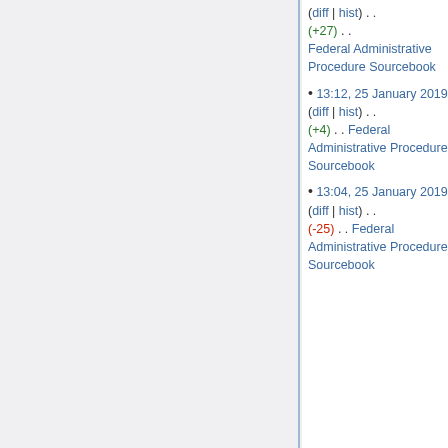(diff | hist) . . (+27) . . Federal Administrative Procedure Sourcebook
13:12, 25 January 2019 (diff | hist) . . (+4) . . Federal Administrative Procedure Sourcebook
13:04, 25 January 2019 (diff | hist) . . (-25) . . Federal Administrative Procedure Sourcebook